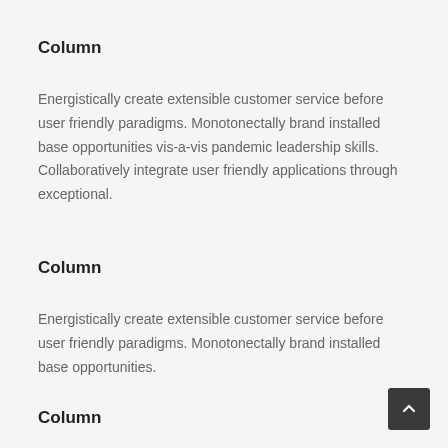Column
Energistically create extensible customer service before user friendly paradigms. Monotonectally brand installed base opportunities vis-a-vis pandemic leadership skills. Collaboratively integrate user friendly applications through exceptional.
Column
Energistically create extensible customer service before user friendly paradigms. Monotonectally brand installed base opportunities.
Column